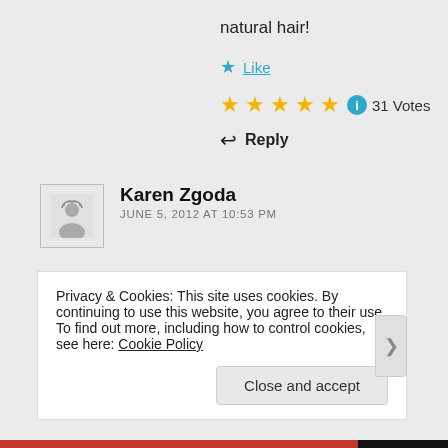natural hair!
★ Like
★★★★★ ℹ 31 Votes
↩ Reply
Karen Zgoda
JUNE 5, 2012 AT 10:53 PM
Unkempt natural hair is the best!
Privacy & Cookies: This site uses cookies. By continuing to use this website, you agree to their use.
To find out more, including how to control cookies, see here: Cookie Policy
Close and accept